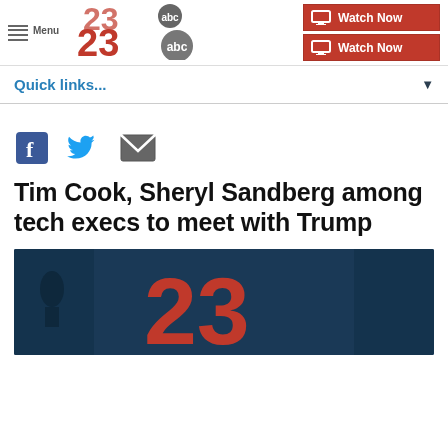[Figure (logo): 23ABC News logo with red '23' numerals and ABC circle logo]
[Figure (other): Watch Now buttons (two red buttons with TV monitor icons)]
Quick links...
[Figure (other): Social sharing icons: Facebook, Twitter, Email]
Tim Cook, Sheryl Sandberg among tech execs to meet with Trump
[Figure (photo): Article image showing 23ABC News logo on blue background]